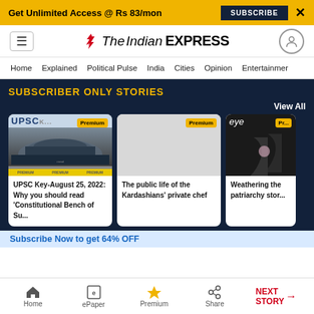Get Unlimited Access @ Rs 83/mon  SUBSCRIBE  X
[Figure (logo): The Indian Express logo with hamburger menu and user icon]
Home  Explained  Political Pulse  India  Cities  Opinion  Entertainment
SUBSCRIBER ONLY STORIES
View All
[Figure (photo): UPSC article card with Parliament building image and Premium badge]
UPSC Key-August 25, 2022: Why you should read 'Constitutional Bench of Su...
[Figure (photo): Article card: The public life of the Kardashians' private chef, Premium badge]
The public life of the Kardashians' private chef
[Figure (photo): Eye magazine article card: Weathering the patriarchy storm, Premium badge]
Weathering the patriarchy stor...
Subscribe Now to get 64% OFF
Home  ePaper  Premium  Share  NEXT STORY →